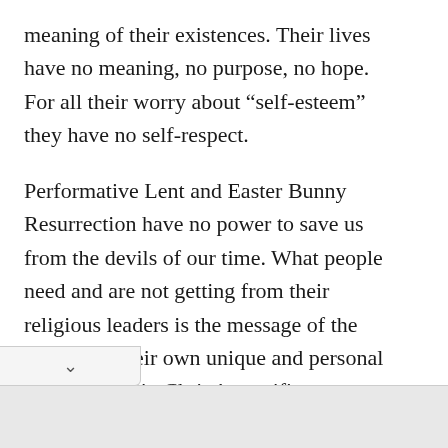meaning of their existences. Their lives have no meaning, no purpose, no hope. For all their worry about “self-esteem” they have no self-respect.
Performative Lent and Easter Bunny Resurrection have no power to save us from the devils of our time. What people need and are not getting from their religious leaders is the message of the Cross and their own unique and personal participation in Christ’s sacrifice.